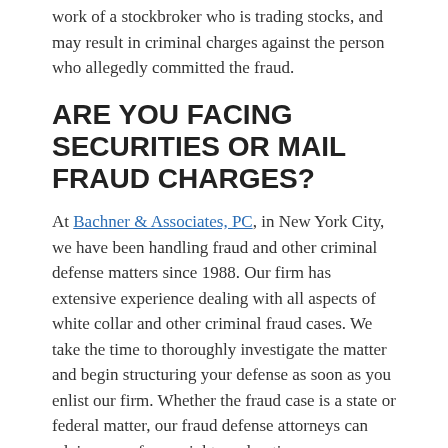work of a stockbroker who is trading stocks, and may result in criminal charges against the person who allegedly committed the fraud.
ARE YOU FACING SECURITIES OR MAIL FRAUD CHARGES?
At Bachner & Associates, PC, in New York City, we have been handling fraud and other criminal defense matters since 1988. Our firm has extensive experience dealing with all aspects of white collar and other criminal fraud cases. We take the time to thoroughly investigate the matter and begin structuring your defense as soon as you enlist our firm. Whether the fraud case is a state or federal matter, our fraud defense attorneys can advise you of your rights and options.
EXPERIENCE WITH ALL TYPES OF FRAUD
Our attorneys confidently handle all types of financial crime